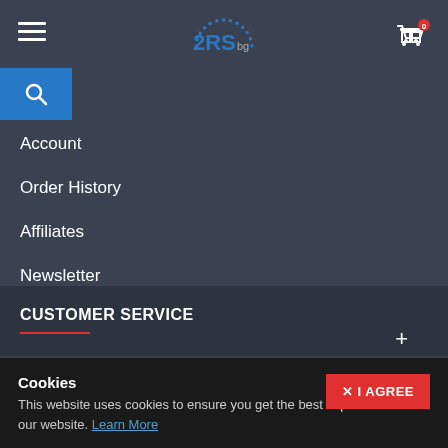[Figure (logo): 2RS.bg logo with speedometer arc and blue text]
[Figure (other): Search button (magnifying glass icon on blue background)]
Account
Order History
Affiliates
Newsletter
CUSTOMER SERVICE
FOLLOW US
[Figure (other): Social media icons: Facebook (f) and Skype (S) on blue circles]
Cookies
This website uses cookies to ensure you get the best experience on our website. Learn More